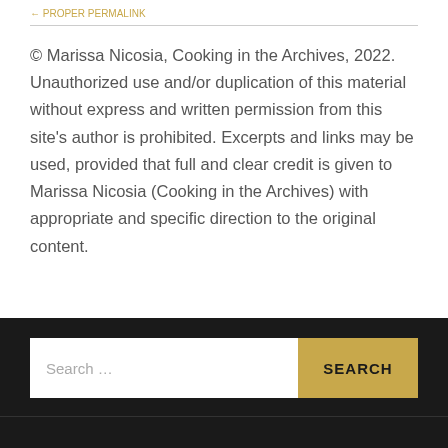← PROPER PERMALINK
© Marissa Nicosia, Cooking in the Archives, 2022. Unauthorized use and/or duplication of this material without express and written permission from this site's author is prohibited. Excerpts and links may be used, provided that full and clear credit is given to Marissa Nicosia (Cooking in the Archives) with appropriate and specific direction to the original content.
Search … SEARCH